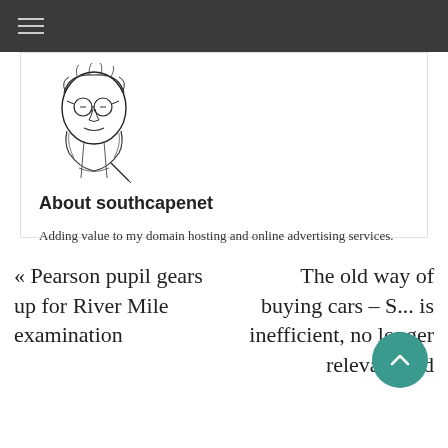Navigation bar with hamburger menu
[Figure (illustration): Hand-drawn sketch illustration of a bearded man with glasses, pen-and-ink style]
About southcapenet
Adding value to my domain hosting and online advertising services.
View all posts by southcapenet →
« Pearson pupil gears up for River Mile examination
The old way of buying cars – S... is inefficient, no longer relevant and